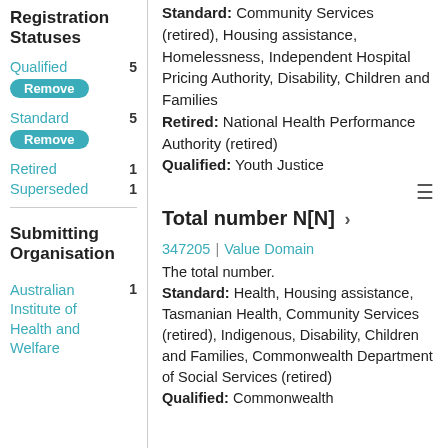Registration Statuses
Qualified 5
Remove (button)
Standard 5
Remove (button)
Retired 1
Superseded 1
Submitting Organisation
Australian Institute of Health and Welfare 1
Standard: Community Services (retired), Housing assistance, Homelessness, Independent Hospital Pricing Authority, Disability, Children and Families
Retired: National Health Performance Authority (retired)
Qualified: Youth Justice
Total number N[N] >
347205 | Value Domain
The total number.
Standard: Health, Housing assistance, Tasmanian Health, Community Services (retired), Indigenous, Disability, Children and Families, Commonwealth Department of Social Services (retired)
Qualified: Commonwealth